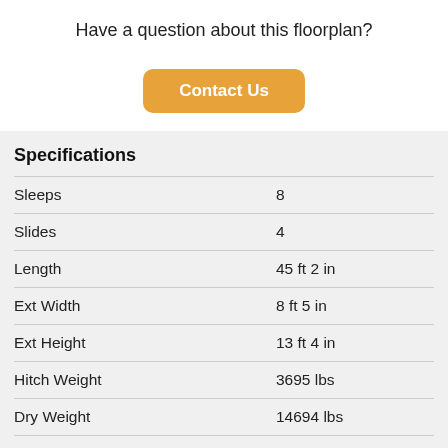Have a question about this floorplan?
[Figure (other): Orange rounded rectangle button labeled 'Contact Us']
Specifications
|  |  |
| --- | --- |
| Sleeps | 8 |
| Slides | 4 |
| Length | 45 ft 2 in |
| Ext Width | 8 ft 5 in |
| Ext Height | 13 ft 4 in |
| Hitch Weight | 3695 lbs |
| Dry Weight | 14694 lbs |
| Cargo Weight | 6306 lbs |
| Fresh Water Capacity | 102 gals |
| Grey Water Capacity | 60 gals |